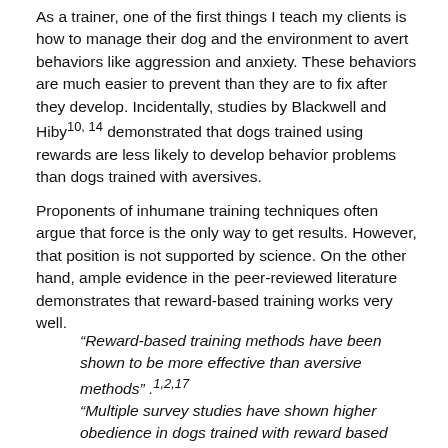As a trainer, one of the first things I teach my clients is how to manage their dog and the environment to avert behaviors like aggression and anxiety. These behaviors are much easier to prevent than they are to fix after they develop. Incidentally, studies by Blackwell and Hiby10, 14 demonstrated that dogs trained using rewards are less likely to develop behavior problems than dogs trained with aversives.
Proponents of inhumane training techniques often argue that force is the only way to get results. However, that position is not supported by science. On the other hand, ample evidence in the peer-reviewed literature demonstrates that reward-based training works very well.
“Reward-based training methods have been shown to be more effective than aversive methods” .1,2,17
“Multiple survey studies have shown higher obedience in dogs trained with reward based methods.”9,14,18